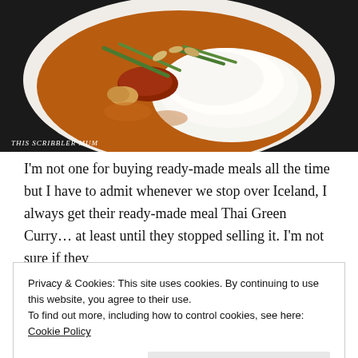[Figure (photo): A white bowl containing Thai curry with rice, green beans, and meat in a brown sauce, photographed from above on a dark background. Watermark reads 'This Scribbler Mum' in the lower left.]
I'm not one for buying ready-made meals all the time but I have to admit whenever we stop over Iceland, I always get their ready-made meal Thai Green Curry… at least until they stopped selling it. I'm not sure if they
Privacy & Cookies: This site uses cookies. By continuing to use this website, you agree to their use.
To find out more, including how to control cookies, see here: Cookie Policy
Close and accept
Share this: